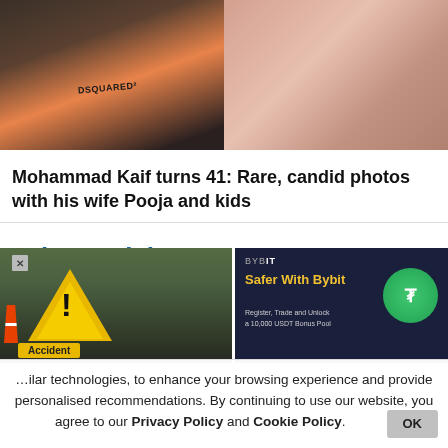[Figure (photo): Two photos side by side: left shows a couple, man in orange DSQUARED2 shirt; right shows a woman selfie with sunglasses on her head]
Mohammad Kaif turns 41: Rare, candid photos with his wife Pooja and kids
Other Articles
Indias favorite Crypto
[Figure (photo): Accident warning sign with yellow triangle, exclamation mark, and orange traffic cone on road]
[Figure (screenshot): Bybit advertisement: 'Safer With Bybit' on dark blue background with coin graphics]
milar technologies, to enhance your browsing experience and provide personalised recommendations. By continuing to use our website, you agree to our Privacy Policy and Cookie Policy.